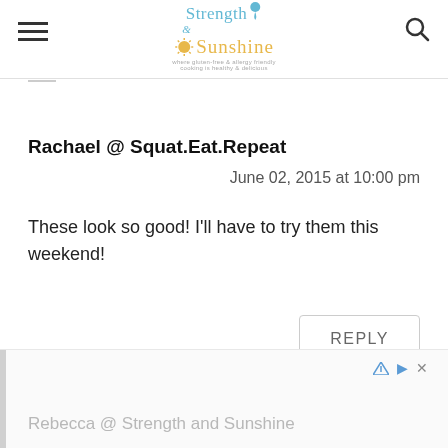Strength & Sunshine
Rachael @ Squat.Eat.Repeat
June 02, 2015 at 10:00 pm
These look so good! I'll have to try them this weekend!
REPLY
Rebecca @ Strength and Sunshine